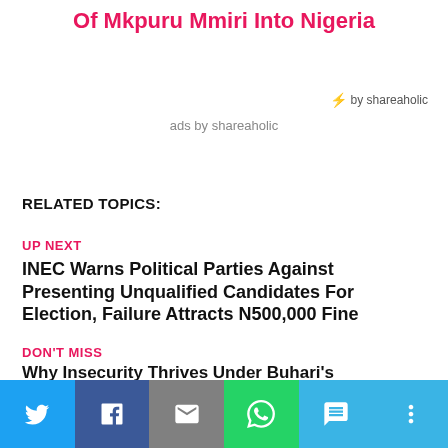Of Mkpuru Mmiri Into Nigeria
⚡ by shareaholic
ads by shareaholic
RELATED TOPICS:
UP NEXT
INEC Warns Political Parties Against Presenting Unqualified Candidates For Election, Failure Attracts N500,000 Fine
DON'T MISS
Why Insecurity Thrives Under Buhari's Administration
ADVERTISEMENT
[Figure (other): Blue/purple advertisement banner]
[Figure (other): Social share bar with Twitter, Facebook, Email, WhatsApp, SMS, and more buttons]